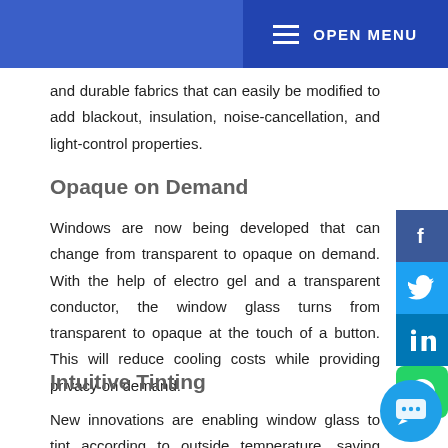OPEN MENU
and durable fabrics that can easily be modified to add blackout, insulation, noise-cancellation, and light-control properties.
Opaque on Demand
Windows are now being developed that can change from transparent to opaque on demand. With the help of electro gel and a transparent conductor, the window glass turns from transparent to opaque at the touch of a button. This will reduce cooling costs while providing privacy on demand.
Intuitive Tinting
New innovations are enabling window glass to tint according to outside temperature, saving cooling costs